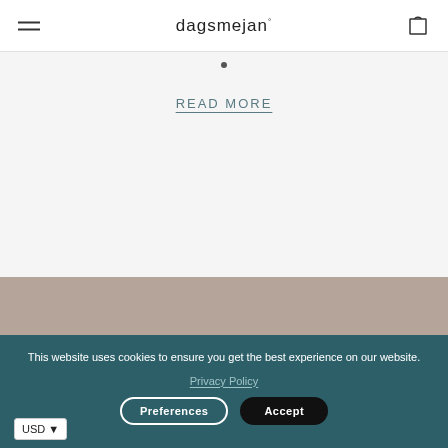dagsmejan°
READ MORE
[Figure (other): Taupe/beige background section of website]
This website uses cookies to ensure you get the best experience on our website.
Privacy Policy
Preferences
Accept
USD